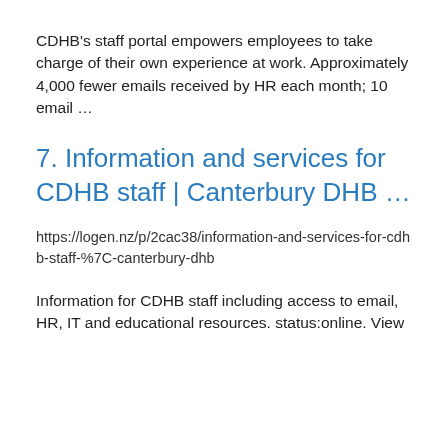CDHB's staff portal empowers employees to take charge of their own experience at work. Approximately 4,000 fewer emails received by HR each month; 10 email …
7. Information and services for CDHB staff | Canterbury DHB …
https://logen.nz/p/2cac38/information-and-services-for-cdhb-staff-%7C-canterbury-dhb
Information for CDHB staff including access to email, HR, IT and educational resources. status:online. View